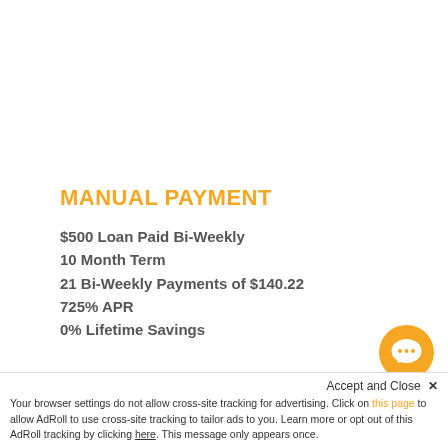MANUAL PAYMENT
$500 Loan Paid Bi-Weekly
10 Month Term
21 Bi-Weekly Payments of $140.22
725% APR
0% Lifetime Savings
AUTOMATIC PAYMENTS
Accept and Close ✕
Your browser settings do not allow cross-site tracking for advertising. Click on this page to allow AdRoll to use cross-site tracking to tailor ads to you. Learn more or opt out of this AdRoll tracking by clicking here. This message only appears once.